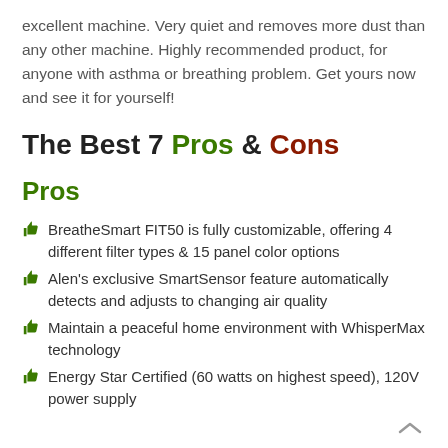excellent machine. Very quiet and removes more dust than any other machine. Highly recommended product, for anyone with asthma or breathing problem. Get yours now and see it for yourself!
The Best 7 Pros & Cons
Pros
BreatheSmart FIT50 is fully customizable, offering 4 different filter types & 15 panel color options
Alen's exclusive SmartSensor feature automatically detects and adjusts to changing air quality
Maintain a peaceful home environment with WhisperMax technology
Energy Star Certified (60 watts on highest speed), 120V power supply